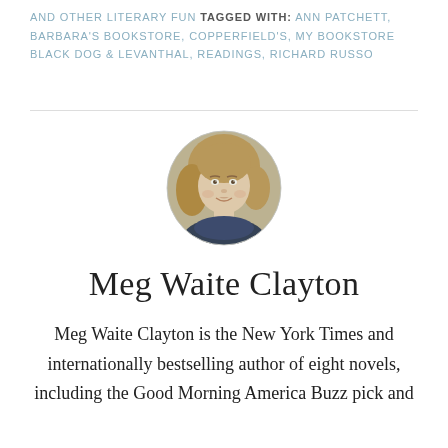AND OTHER LITERARY FUN TAGGED WITH: ANN PATCHETT, BARBARA'S BOOKSTORE, COPPERFIELD'S, MY BOOKSTORE BLACK DOG & LEVANTHAL, READINGS, RICHARD RUSSO
[Figure (photo): Circular portrait photo of Meg Waite Clayton, a woman with blonde hair, smiling, wearing a dark top]
Meg Waite Clayton
Meg Waite Clayton is the New York Times and internationally bestselling author of eight novels, including the Good Morning America Buzz pick and